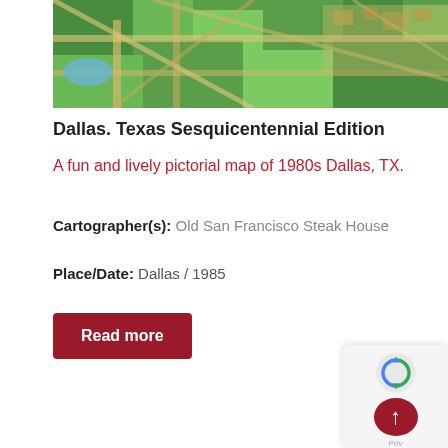[Figure (map): Aerial/pictorial map of Dallas showing green fields, roads, and urban areas with a colorful illustrated style]
Dallas. Texas Sesquicentennial Edition
A fun and lively pictorial map of 1980s Dallas, TX.
Cartographer(s): Old San Francisco Steak House
Place/Date: Dallas / 1985
Read more